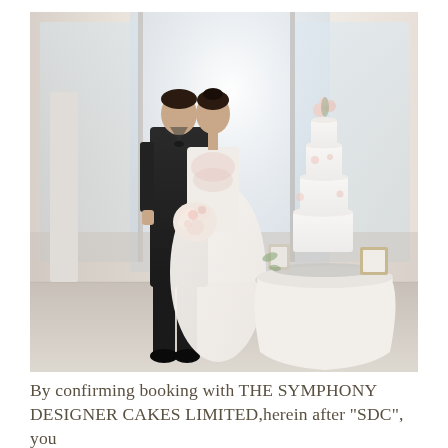[Figure (photo): A couple in wedding attire standing beside a round table with a tall white multi-tiered wedding cake decorated with flowers. The bride holds a bouquet and the groom wears a dark suit. Large windows with bright light in the background.]
By confirming booking with THE SYMPHONY DESIGNER CAKES LIMITED,herein after "SDC",  you